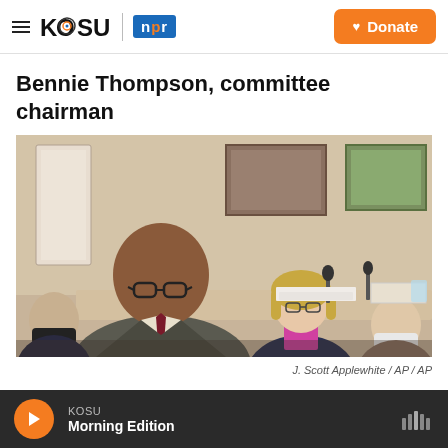KOSU | npr — Donate
Bennie Thompson, committee chairman
[Figure (photo): Bennie Thompson speaking at a committee hearing table with other members seated behind him including a woman in a pink blazer. The room has artwork on the walls and several people are working at the table.]
J. Scott Applewhite / AP / AP
KOSU Morning Edition